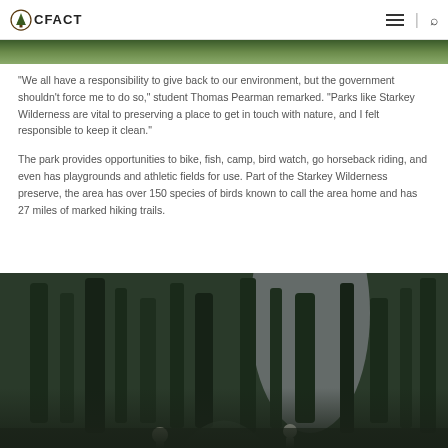CFACT
[Figure (photo): Top green foliage/tree canopy image strip]
“We all have a responsibility to give back to our environment, but the government shouldn’t force me to do so,” student Thomas Pearman remarked. “Parks like Starkey Wilderness are vital to preserving a place to get in touch with nature, and I felt responsible to keep it clean.”
The park provides opportunities to bike, fish, camp, bird watch, go horseback riding, and even has playgrounds and athletic fields for use. Part of the Starkey Wilderness preserve, the area has over 150 species of birds known to call the area home and has 27 miles of marked hiking trails.
[Figure (photo): People walking through a forested trail with tall trees and soft light]